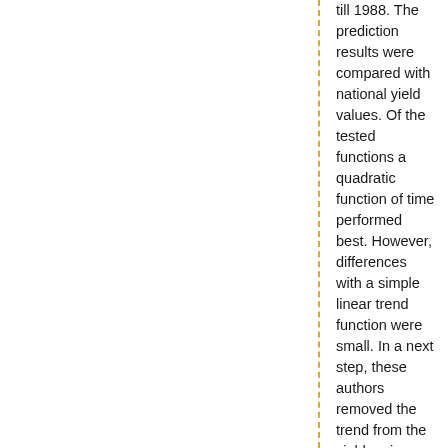till 1988. The prediction results were compared with national yield values. Of the tested functions a quadratic function of time performed best. However, differences with a simple linear trend function were small. In a next step, these authors removed the trend from the yield series using the quadratic function. The residuals for the period prior to 1983